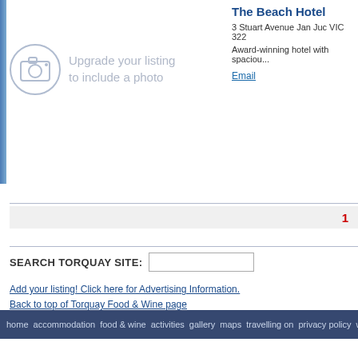[Figure (illustration): Camera icon placeholder for photo upgrade listing]
Upgrade your listing to include a photo
The Beach Hotel
3 Stuart Avenue Jan Juc VIC 322
Award-winning hotel with spaciou...
Email
1
SEARCH TORQUAY SITE:
Add your listing! Click here for Advertising Information.
Back to top of Torquay Food & Wine page
home  accommodation  food & wine  activities  gallery  maps  travelling on  privacy policy  website p...